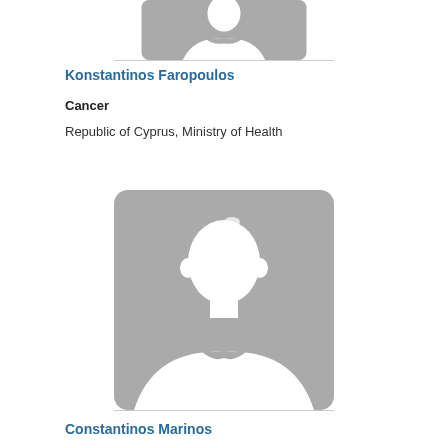[Figure (photo): Placeholder silhouette photo for Konstantinos Faropoulos (top, partially cropped)]
Konstantinos Faropoulos
Cancer
Republic of Cyprus, Ministry of Health
[Figure (photo): Placeholder silhouette photo for Konstantinos Marinos]
Constantinos Marinos